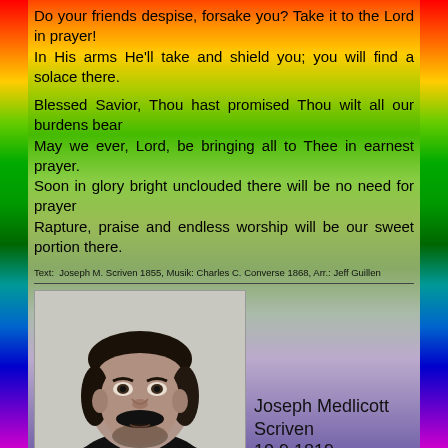Do your friends despise, forsake you? Take it to the Lord in prayer!
In His arms He'll take and shield you; you will find a solace there.

Blessed Savior, Thou hast promised Thou wilt all our burdens bear
May we ever, Lord, be bringing all to Thee in earnest prayer.
Soon in glory bright unclouded there will be no need for prayer
Rapture, praise and endless worship will be our sweet portion there.
Text:  Joseph M. Scriven 1855, Musik: Charles C. Converse 1868, Arr.: Jeff Guillen
[Figure (photo): Black and white portrait photograph of Joseph Medlicott Scriven, a man with dark hair and a mustache, facing slightly to the right.]
Joseph Medlicott Scriven
10.9.1819 - 10.8.1886